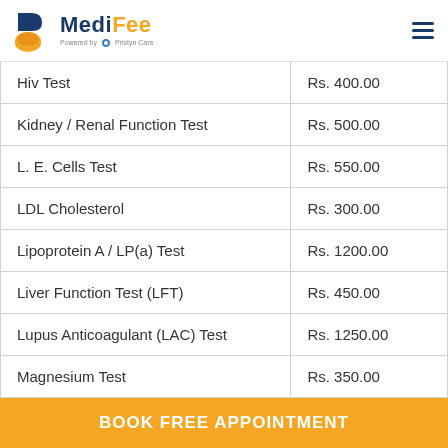MediFee - Powered by Pristyn Care
| Test Name | Price |
| --- | --- |
| Hiv Test | Rs. 400.00 |
| Kidney / Renal Function Test | Rs. 500.00 |
| L. E. Cells Test | Rs. 550.00 |
| LDL Cholesterol | Rs. 300.00 |
| Lipoprotein A / LP(a) Test | Rs. 1200.00 |
| Liver Function Test (LFT) | Rs. 450.00 |
| Lupus Anticoagulant (LAC) Test | Rs. 1250.00 |
| Magnesium Test | Rs. 350.00 |
| Phosphorus Test | Rs. 100.00 |
BOOK FREE APPOINTMENT